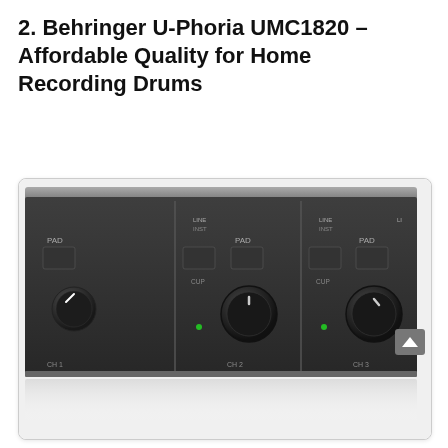2. Behringer U-Phoria UMC1820 – Affordable Quality for Home Recording Drums
[Figure (photo): Photo of the Behringer U-Phoria UMC1820 audio interface front panel showing multiple channel strips with gain knobs, PAD buttons, LINE/INST switches, and channel labels, with a reflection visible below the device.]